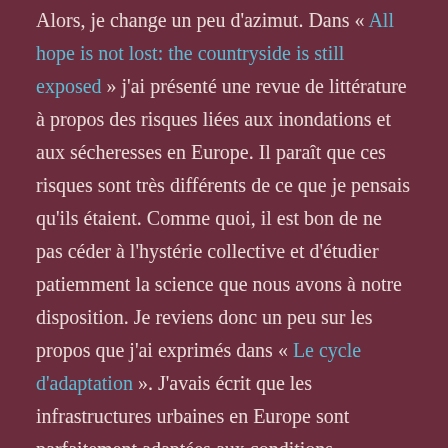Alors, je change un peu d'azimut. Dans « All hope is not lost: the countryside is still exposed » j'ai présenté une revue de littérature à propos des risques liées aux inondations et aux sécheresses en Europe. Il paraît que ces risques sont très différents de ce que je pensais qu'ils étaient. Comme quoi, il est bon de ne pas céder à l'hystérie collective et d'étudier patiemment la science que nous avons à notre disposition. Je reviens donc un peu sur les propos que j'ai exprimés dans « Le cycle d'adaptation ». J'avais écrit que les infrastructures urbaines en Europe sont parfaitement adaptées aux conditions climatiques qui n'existent plus : maintenant je reviens et je nuance sur ce propos. Oui, les villes européennes ont besoin d'adaptation aux changements climatiques, mais elles sont en train de s'adapter déjà. En revanche, la partie majeure des pertes humaines et